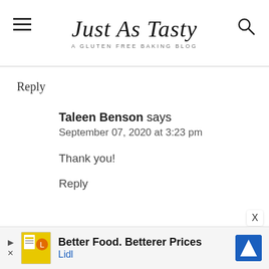Just As Tasty — A Gluten Free Baking Blog
Reply
Taleen Benson says
September 07, 2020 at 3:23 pm
Thank you!
Reply
[Figure (screenshot): Lidl advertisement banner: Better Food. Betterer Prices — Lidl]